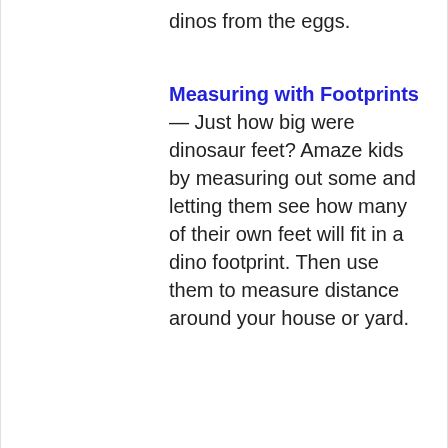dinos from the eggs.
Measuring with Footprints — Just how big were dinosaur feet?  Amaze kids by measuring out some and letting them see how many of their own feet will fit in a dino footprint.  Then use them to measure distance around your house or yard.
ADVERTISEMENT